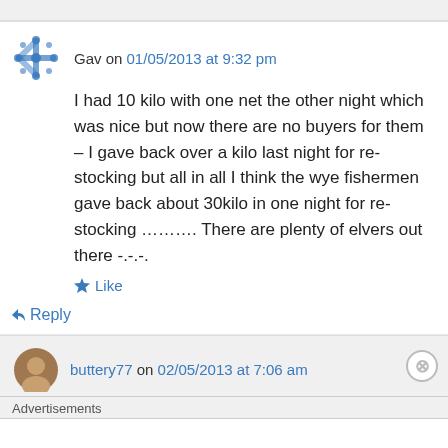Gav on 01/05/2013 at 9:32 pm
I had 10 kilo with one net the other night which was nice but now there are no buyers for them – I gave back over a kilo last night for re-stocking but all in all I think the wye fishermen gave back about 30kilo in one night for re-stocking ………. There are plenty of elvers out there -.-.-.
Like
Reply
buttery77 on 02/05/2013 at 7:06 am
Advertisements